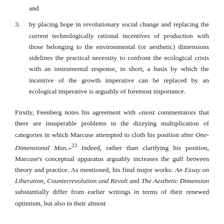and
by placing hope in revolutionary social change and replacing the current technologically rational incentives of production with those belonging to the environmental (or aesthetic) dimensions sidelines the practical necessity to confront the ecological crisis with an instrumental response, in short, a basis by which the incentive of the growth imperative can be replaced by an ecological imperative is arguably of foremost importance.
Firstly, Feenberg notes his agreement with «most commentators that there are insuperable problems in the dizzying multiplication of categories in which Marcuse attempted to cloth his position after One-Dimensional Man.»23 Indeed, rather than clarifying his position, Marcuse's conceptual apparatus arguably increases the gulf between theory and practice. As mentioned, his final major works: An Essay on Liberation, Counterrevolution and Revolt and The Aesthetic Dimension substantially differ from earlier writings in terms of their renewed optimism, but also in their almost